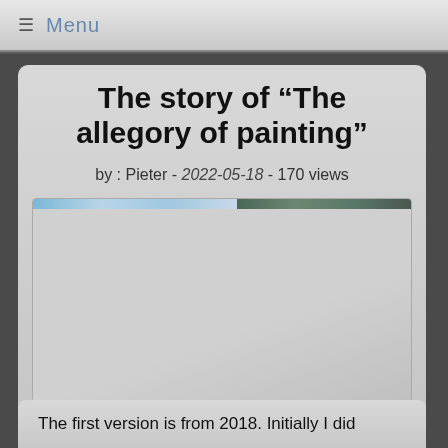≡ Menu
The story of “The allegory of painting”
by : Pieter - 2022-05-18 - 170 views
[Figure (photo): Photograph split into two halves — left half shows a light blue/sky toned image, right half shows a darker green/teal toned image. Main area is a light grey placeholder.]
The first version is from 2018. Initially I did